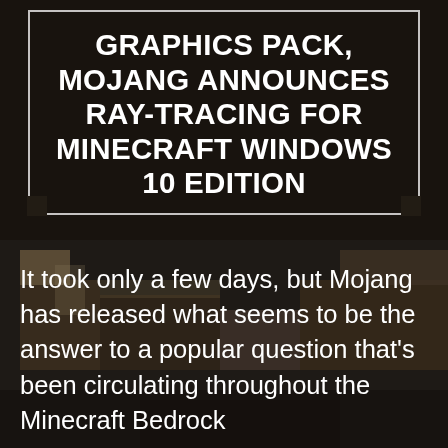[Figure (photo): Dark Minecraft scene showing blocky stone/dirt structures at night or in dim lighting, serving as background for article headline]
GRAPHICS PACK, MOJANG ANNOUNCES RAY-TRACING FOR MINECRAFT WINDOWS 10 EDITION
It took only a few days, but Mojang has released what seems to be the answer to a popular question that's been circulating throughout the Minecraft Bedrock